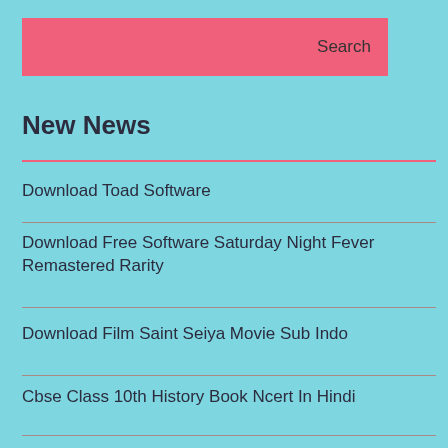[Figure (screenshot): Search bar input field (pink background) with a Search button]
New News
Download Toad Software
Download Free Software Saturday Night Fever Remastered Rarity
Download Film Saint Seiya Movie Sub Indo
Cbse Class 10th History Book Ncert In Hindi
Blackhat Cpa Software Comparison